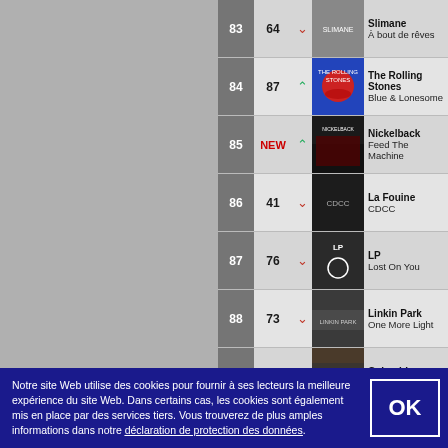| Rank | Prev | Trend | Album | Artist | Title |
| --- | --- | --- | --- | --- | --- |
| 83 | 64 | ↓ | (image) | Slimane | À bout de rêves |
| 84 | 87 | ↑ | (image) | The Rolling Stones | Blue & Lonesome |
| 85 | NEW | ↑ | (image) | Nickelback | Feed The Machine |
| 86 | 41 | ↓ | (image) | La Fouine | CDCC |
| 87 | 76 | ↓ | (image) | LP | Lost On You |
| 88 | 73 | ↓ | (image) | Linkin Park | One More Light |
| 89 | 82 | ↓ | (image) | Columbine | Enfants terribles |
Notre site Web utilise des cookies pour fournir à ses lecteurs la meilleure expérience du site Web. Dans certains cas, les cookies sont également mis en place par des services tiers. Vous trouverez de plus amples informations dans notre déclaration de protection des données.